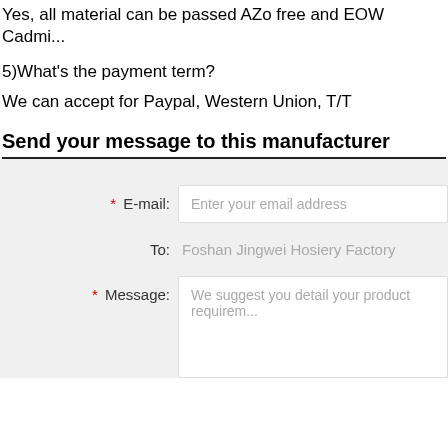Yes, all material can be passed AZo free and EOW Cadmi...
5)What's the payment term?
We can accept for Paypal, Western Union, T/T
Send your message to this manufacturer
E-mail: Enter your email address
To: Foshan Jingwei Hosiery Factory
Message: We suggest you detail your product requirem...